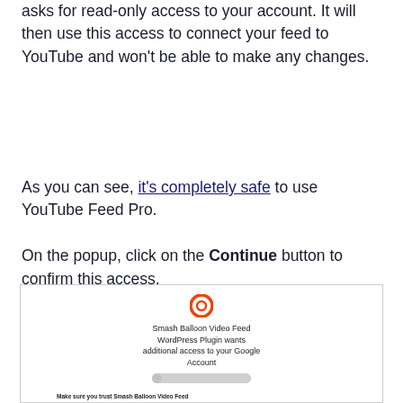asks for read-only access to your account. It will then use this access to connect your feed to YouTube and won't be able to make any changes.
As you can see, it's completely safe to use YouTube Feed Pro.
On the popup, click on the Continue button to confirm this access.
[Figure (screenshot): Screenshot of a Google OAuth popup for 'Smash Balloon Video Feed WordPress Plugin wants additional access to your Google Account'. Shows the plugin icon, a blurred email, a trust warning section, and links to Google Account, share data safely, Privacy Policy and Terms of Service.]